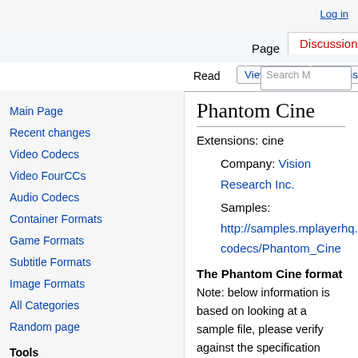Log in
Page  Discussion  Read  View source  View history  Search M
Phantom Cine
Extensions: cine
Company: Vision Research Inc.
Samples: http://samples.mplayerhq.hu/V-codecs/Phantom_Cine
The Phantom Cine format
Note: below information is based on looking at a sample file, please verify against the specification linked at the end.
This is a raw uncompressed format.
It contains a lot of metadata, and index
Main Page
Recent changes
Video Codecs
Video FourCCs
Audio Codecs
Container Formats
Game Formats
Subtitle Formats
Image Formats
All Categories
Random page
Tools
What links here